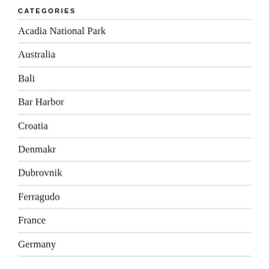CATEGORIES
Acadia National Park
Australia
Bali
Bar Harbor
Croatia
Denmakr
Dubrovnik
Ferragudo
France
Germany